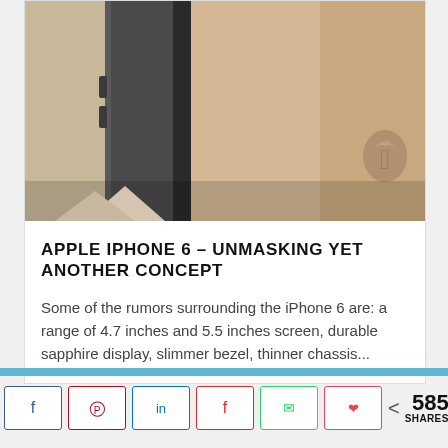[Figure (photo): Close-up photo of Apple iPhone 6 concept renders in gold and dark/graphite colors, showing the side profile and back of the devices with visible volume buttons and Apple logo]
APPLE IPHONE 6 – UNMASKING YET ANOTHER CONCEPT
Some of the rumors surrounding the iPhone 6 are: a range of 4.7 inches and 5.5 inches screen, durable sapphire display, slimmer bezel, thinner chassis...
[Figure (infographic): Social share buttons bar showing Facebook, Pinterest, LinkedIn, Flipboard, WhatsApp, Pocket icons, and a share count of 585 SHARES]